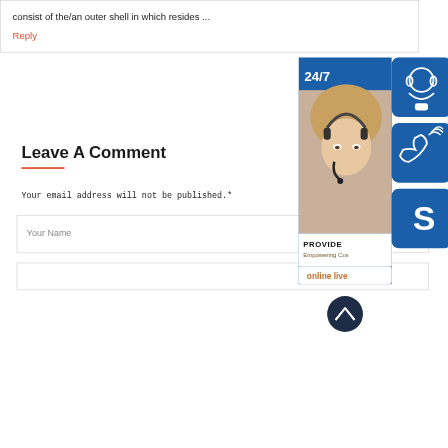consist of the/an outer shell in which resides ...
Reply
[Figure (illustration): Customer support widget overlay showing a woman with headset, 24/7 label, PROVIDE Empowering Customers text, online live button, and three blue icon buttons for headset/support, phone, and Skype]
Leave A Comment
Your email address will not be published.*
Your Name